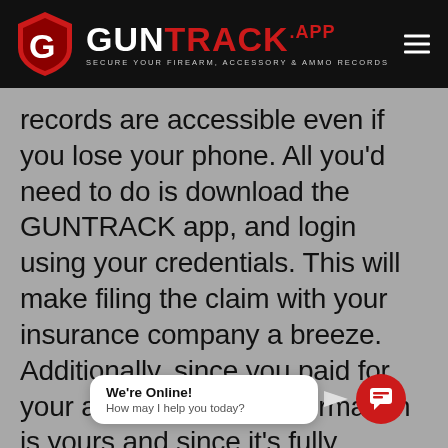[Figure (logo): GUNTRACK.APP logo with shield icon on black background header bar. White text 'GUN' and red text 'TRACK' with '.APP' and tagline 'SECURE YOUR FIREARM, ACCESSORY & AMMO RECORDS']
records are accessible even if you lose your phone. All you'd need to do is download the GUNTRACK app, and login using your credentials. This will make filing the claim with your insurance company a breeze. Additionally, since you paid for your account, all the information is yours and since it's fully encrypted, no one else could to attention without ac using your email and password
[Figure (screenshot): Chat widget overlay showing 'We're Online! How may I help you today?' with red chat button icon]